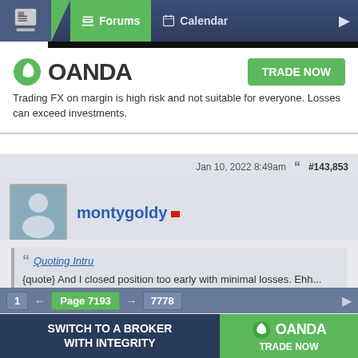Forums | Calendar
[Figure (screenshot): OANDA broker advertisement banner with logo and TRADE NOW button]
Trading FX on margin is high risk and not suitable for everyone. Losses can exceed investments.
Jan 10, 2022 8:49am  #143,853
montygoldy
Quoting Intru
{quote} And I closed position too early with minimal losses. Ehh... Impatiance.
Still holding for target 1.29000
Extreme gut feeling trader
1 ← Page 7193 → 7778
[Figure (screenshot): OANDA bottom advertisement banner: SWITCH TO A BROKER WITH INTEGRITY | TRADE NOW]